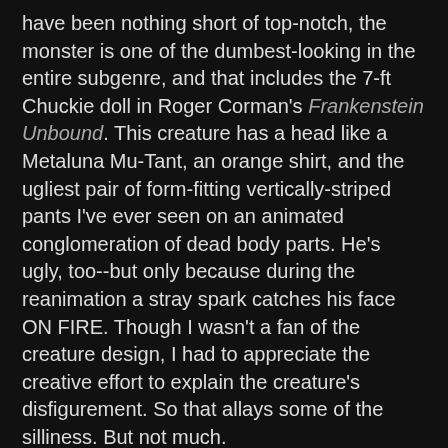have been nothing short of top-notch, the monster is one of the dumbest-looking in the entire subgenre, and that includes the 7-ft Chuckie doll in Roger Corman's Frankenstein Unbound. This creature has a head like a Metaluna Mu-Tant, an orange shirt, and the ugliest pair of form-fitting vertically-striped pants I've ever seen on an animated conglomeration of dead body parts. He's ugly, too--but only because during the reanimation a stray spark catches his face ON FIRE. Though I wasn't a fan of the creature design, I had to appreciate the creative effort to explain the creature's disfigurement. So that allays some of the silliness. But not much.
Monster goofiness aside, the creation sequence is one of the better ones I've seen in a Frankenstein movie, very exciting and well-realized, second perhaps only to the wonderful stuff in the old Universal flicks. Sensing how silly he looks in those pants, the newborn monster wastes no time going on an kill-crazy rampage, starting with the man that dressed him, Baron Frankenstein himself. The creature crushes him like a wine grape--probably releasing twice as much alcohol in the process--and then heads out to the